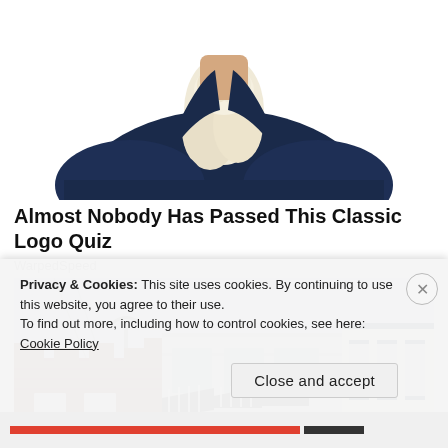[Figure (illustration): Partial view of a cartoon/illustrated historical figure (from the chest up) wearing a dark navy coat with white ruffled cravat, cropped so the face is cut off at the top of the frame. White background.]
Almost Nobody Has Passed This Classic Logo Quiz
WarpedSpeed
[Figure (photo): Street-level photograph of a small-town main street with several commercial buildings: a red brick building on the left, a grey/white building in the center with dark striped awnings, and a white building with dark-trimmed windows on the right. Power lines and a street lamp visible.]
Privacy & Cookies: This site uses cookies. By continuing to use this website, you agree to their use.
To find out more, including how to control cookies, see here: Cookie Policy
Close and accept